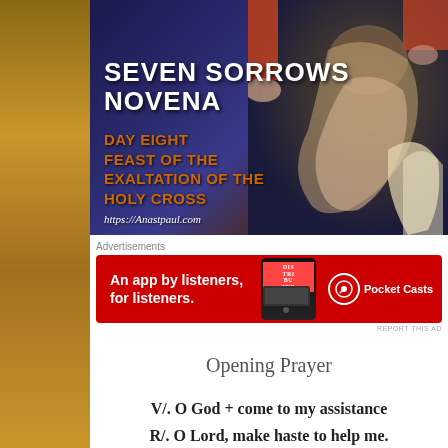[Figure (illustration): Religious painting background showing figures in classical style with blue robes and angels, overlaid with text about Seven Sorrows Novena Day Eight - Feast of the Exaltation of the Holy Cross, with website https://Anastpaul.com]
Advertisements
[Figure (infographic): Pocket Casts advertisement banner on red background: 'An app by listeners, for listeners.' with phone image and Pocket Casts logo]
REPORT THIS AD
Opening Prayer
V/. O God + come to my assistance R/. O Lord, make haste to help me.